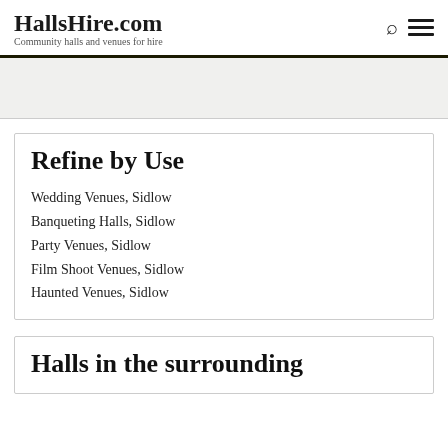HallsHire.com — Community halls and venues for hire
Refine by Use
Wedding Venues, Sidlow
Banqueting Halls, Sidlow
Party Venues, Sidlow
Film Shoot Venues, Sidlow
Haunted Venues, Sidlow
Halls in the surrounding